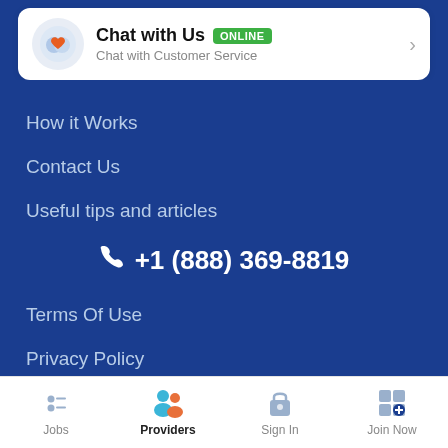[Figure (screenshot): Chat with Us card showing orange heart logo, ONLINE badge, and chevron arrow with subtitle 'Chat with Customer Service']
How it Works
Contact Us
Useful tips and articles
+1 (888) 369-8819
Terms Of Use
Privacy Policy
[Figure (screenshot): Bottom navigation bar with four items: Jobs (list icon), Providers (people icon, active), Sign In (bag icon), Join Now (grid icon)]